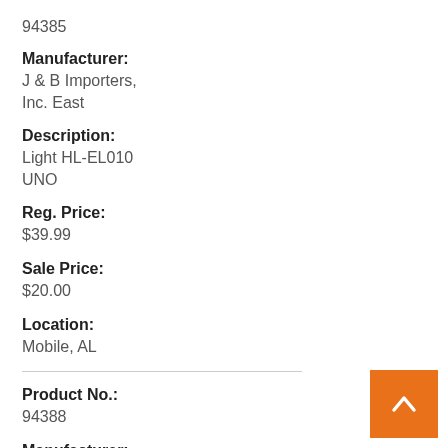94385
Manufacturer:
J & B Importers, Inc. East
Description:
Light HL-EL010 UNO
Reg. Price:
$39.99
Sale Price:
$20.00
Location:
Mobile, AL
Product No.:
94388
Manufacturer:
Konda